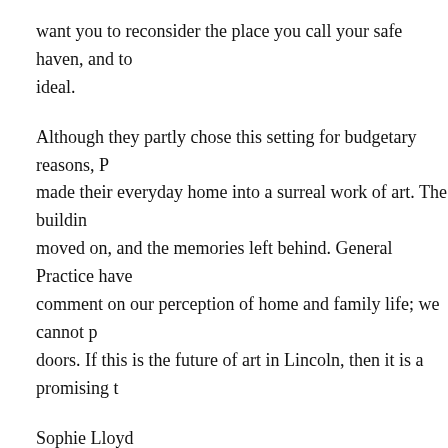want you to reconsider the place you call your safe haven, and to ideal.
Although they partly chose this setting for budgetary reasons, P made their everyday home into a surreal work of art. The buildin moved on, and the memories left behind. General Practice have comment on our perception of home and family life; we cannot p doors. If this is the future of art in Lincoln, then it is a promising t
Sophie Lloyd
GAST took place on 20 March at the artists' home in Lincoln and called Re>fer>al, the next one is 10 June. For more information v
Credits
1. Dale Fearnley and Laura Mahony, GAST. Courtesy of the artist
Posted on 29 April 2014